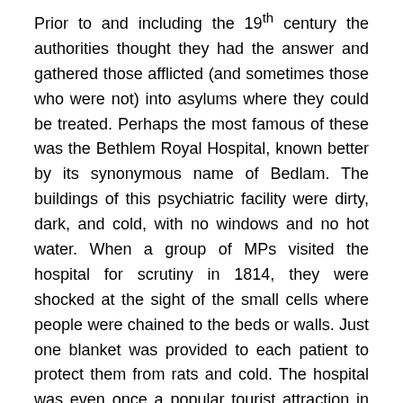Prior to and including the 19th century the authorities thought they had the answer and gathered those afflicted (and sometimes those who were not) into asylums where they could be treated. Perhaps the most famous of these was the Bethlem Royal Hospital, known better by its synonymous name of Bedlam. The buildings of this psychiatric facility were dirty, dark, and cold, with no windows and no hot water. When a group of MPs visited the hospital for scrutiny in 1814, they were shocked at the sight of the small cells where people were chained to the beds or walls. Just one blanket was provided to each patient to protect them from rats and cold. The hospital was even once a popular tourist attraction in London, offering morbid entertainment to the curious.
The Victorians made more humane changes to the way that these patients were treated, but it was still an 'illness'